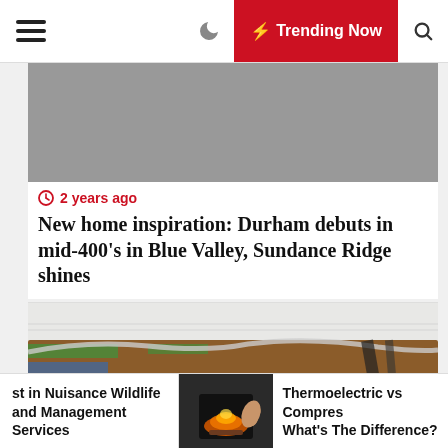≡  🌙  ⚡ Trending Now  🔍
[Figure (photo): Gray placeholder image area at top of article]
2 years ago
New home inspiration: Durham debuts in mid-400's in Blue Valley, Sundance Ridge shines
[Figure (photo): Construction photo showing a bathtub covered in brown cardboard/paper protection with green tape, white tile walls in background]
st in Nuisance Wildlife and Management Services
[Figure (photo): Small thumbnail of a fireplace with a hand reaching toward it]
Thermoelectric vs Compres What's The Difference?